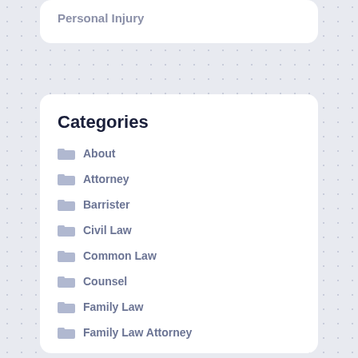Personal Injury
Categories
About
Attorney
Barrister
Civil Law
Common Law
Counsel
Family Law
Family Law Attorney